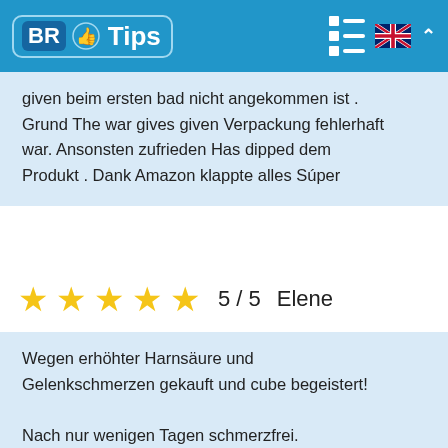[Figure (logo): BR Tips logo with blue background, thumbs-up icon, and navigation icons including menu grid and UK flag]
given beim ersten bad nicht angekommen ist . Grund The war gives given Verpackung fehlerhaft war. Ansonsten zufrieden Has dipped dem Produkt . Dank Amazon klappte alles Súper
★★★★★ 5 / 5   Elene
Wegen erhöhter Harnsäure und Gelenkschmerzen gekauft und cube begeistert!

Nach nur wenigen Tagen schmerzfrei.